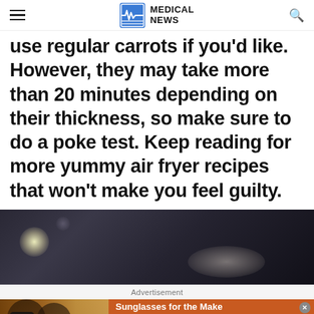MEDICAL NEWS
use regular carrots if you'd like. However, they may take more than 20 minutes depending on their thickness, so make sure to do a poke test. Keep reading for more yummy air fryer recipes that won't make you feel guilty.
[Figure (photo): Dark blurred photo of what appears to be an air fryer or cooking pan, out of focus with bokeh light effects]
Advertisement
[Figure (photo): Advertisement banner: Sunglasses for the Make - two women wearing sunglasses. Timeless styles, unmatched quality. Shop Now button.]